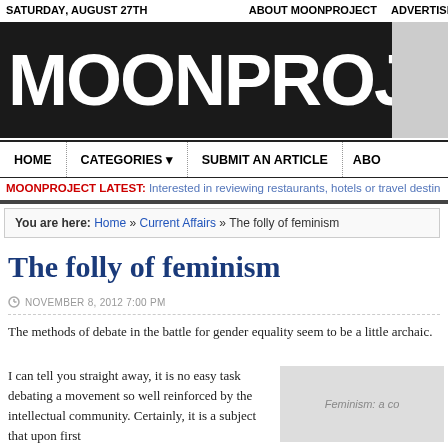SATURDAY, AUGUST 27TH | ABOUT MOONPROJECT | ADVERTISE
MOONPROJECT
HOME | CATEGORIES | SUBMIT AN ARTICLE | ABO
MOONPROJECT LATEST: Interested in reviewing restaurants, hotels or travel destin
You are here: Home » Current Affairs » The folly of feminism
The folly of feminism
NOVEMBER 8, 2012 7:00 PM
The methods of debate in the battle for gender equality seem to be a little archaic.
I can tell you straight away, it is no easy task debating a movement so well reinforced by the intellectual community. Certainly, it is a subject that upon first
[Figure (photo): Feminism: a co[ntroversial topic] — partially visible image placeholder]